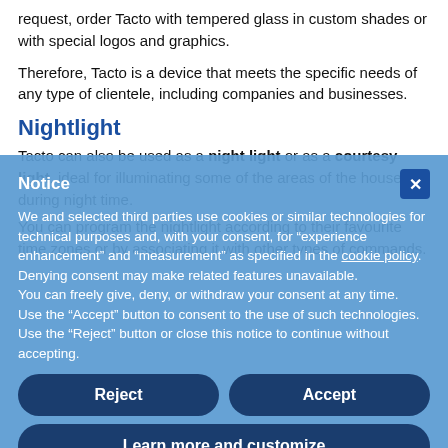request, order Tacto with tempered glass in custom shades or with special logos and graphics.
Therefore, Tacto is a device that meets the specific needs of any type of clientele, including companies and businesses.
Nightlight
Tacto can also be used as a night light or as a courtesy light, ideal for illuminating some of the areas of the house during night time.
You can program the nightlight according to their favourite time zones or by associating it with other types of commands.
Notice
We and selected third parties use cookies or similar technologies for technical purposes and, with your consent, for "experience enhancement" and "measurement" as specified in the cookie policy. Denying consent may make related features unavailable.
You can freely give, deny, or withdraw your consent at any time.
Use the "Accept" button to consent to the use of such technologies. Use the "Reject" button or close this notice to continue without accepting.